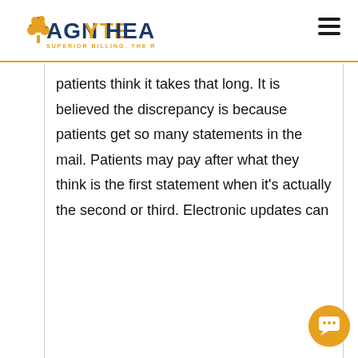AGNYTE HEALTH — SUPERIOR BILLING. THE RIGHT CHOICE
patients think it takes that long. It is believed the discrepancy is because patients get so many statements in the mail. Patients may pay after what they think is the first statement when it's actually the second or third. Electronic updates can